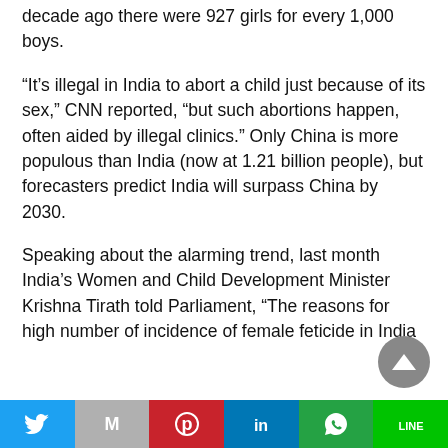decade ago there were 927 girls for every 1,000 boys.
“It’s illegal in India to abort a child just because of its sex,” CNN reported, “but such abortions happen, often aided by illegal clinics.” Only China is more populous than India (now at 1.21 billion people), but forecasters predict India will surpass China by 2030.
Speaking about the alarming trend, last month India’s Women and Child Development Minister Krishna Tirath told Parliament, “The reasons for high number of incidence of female feticide in India
Twitter | Gmail | Pinterest | LinkedIn | WhatsApp | Line